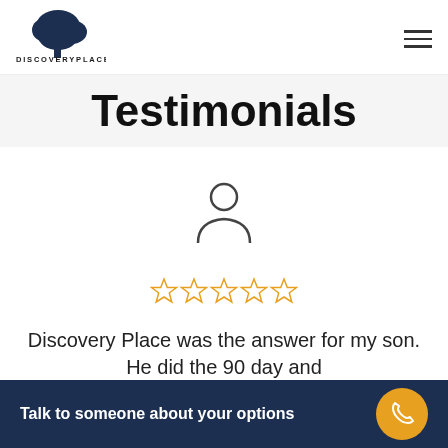[Figure (logo): Discovery Place logo with tree illustration and text DISCOVERYPLACE]
Testimonials
[Figure (illustration): Generic user/person silhouette icon]
[Figure (other): Five empty star rating icons in golden/orange color]
Discovery Place was the answer for my son. He did the 90 day and
Talk to someone about your options